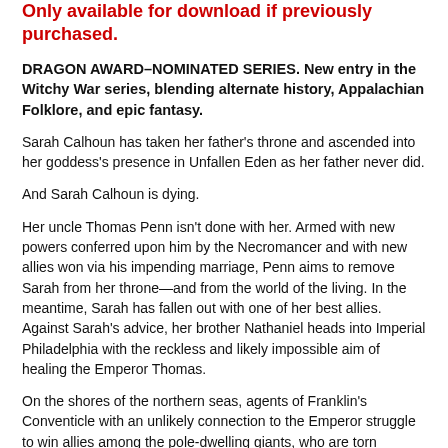Only available for download if previously purchased.
DRAGON AWARD–NOMINATED SERIES. New entry in the Witchy War series, blending alternate history, Appalachian Folklore, and epic fantasy.
Sarah Calhoun has taken her father's throne and ascended into her goddess's presence in Unfallen Eden as her father never did.
And Sarah Calhoun is dying.
Her uncle Thomas Penn isn't done with her. Armed with new powers conferred upon him by the Necromancer and with new allies won via his impending marriage, Penn aims to remove Sarah from her throne—and from the world of the living. In the meantime, Sarah has fallen out with one of her best allies. Against Sarah's advice, her brother Nathaniel heads into Imperial Philadelphia with the reckless and likely impossible aim of healing the Emperor Thomas.
On the shores of the northern seas, agents of Franklin's Conventicle with an unlikely connection to the Emperor struggle to win allies among the pole-dwelling giants, who are torn between seizing land covertly from the